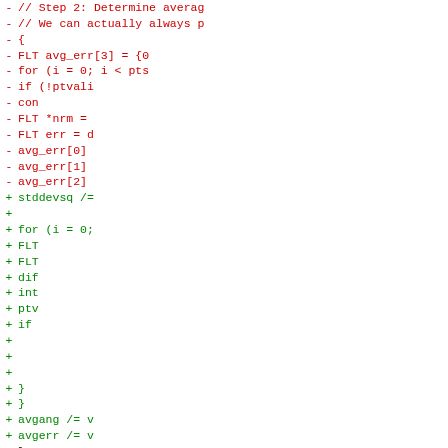[Figure (screenshot): Code diff showing removed lines (red, marked with -) and added lines (green, marked with +). Removed lines show C++ code with comments, FLT declarations, for loop, if statement, avg_err assignments. Added lines show stddevsq, for loop, FLT, dif, int, ptv, if statements, closing braces, avgang and avgerr assignments, and a closing brace.]